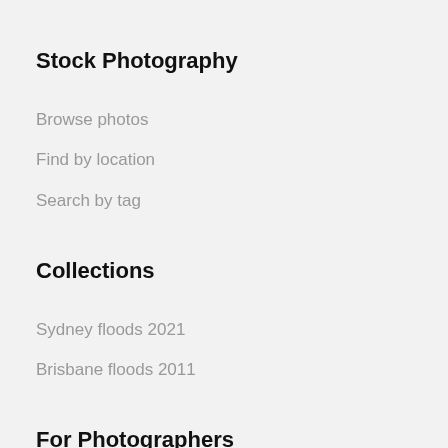Stock Photography
Browse photos
Find by location
Search by tag
Collections
Sydney floods 2021
Brisbane floods 2011
For Photographers
Sell your photos